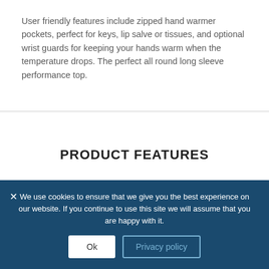User friendly features include zipped hand warmer pockets, perfect for keys, lip salve or tissues, and optional wrist guards for keeping your hands warm when the temperature drops. The perfect all round long sleeve performance top.
PRODUCT FEATURES
We use cookies to ensure that we give you the best experience on our website. If you continue to use this site we will assume that you are happy with it.